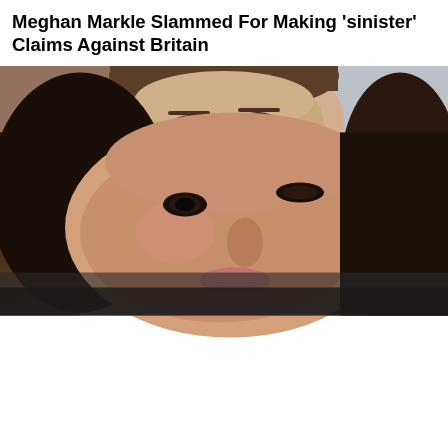[Figure (photo): Close-up photo of a woman with dark hair, wearing a dark top, smiling slightly — appears to be Meghan Markle]
Meghan Markle Slammed For Making 'sinister' Claims Against Britain
[Figure (photo): Photo of a woman with brown hair pulled back, looking serious, against a light background]